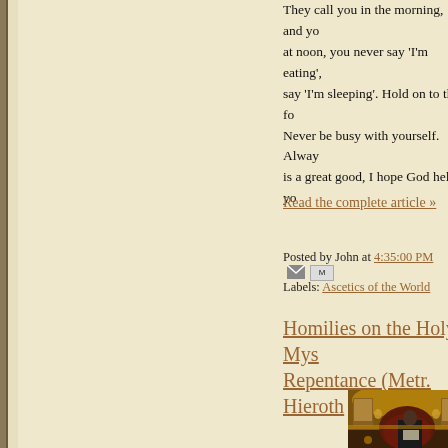They call you in the morning, and you at noon, you never say 'I'm eating', say 'I'm sleeping'. Hold on to this fo Never be busy with yourself. Always is a great good, I hope God helps yo
Read the complete article »
Posted by John at 4:35:00 PM
Labels: Ascetics of the World
Homilies on the Holy Mys Repentance (Metr. Hieroth
[Figure (photo): Interior of an Orthodox church showing ornate golden iconostasis with icons, hanging lamps, and a priest in black robes reading]